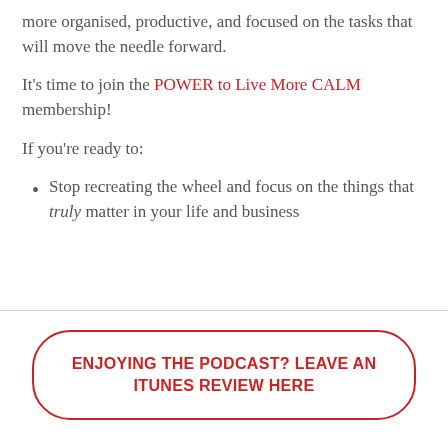more organised, productive, and focused on the tasks that will move the needle forward.
It's time to join the POWER to Live More CALM membership!
If you're ready to:
Stop recreating the wheel and focus on the things that truly matter in your life and business
[Figure (other): Button with red border and red bold text: ENJOYING THE PODCAST? LEAVE AN ITUNES REVIEW HERE]